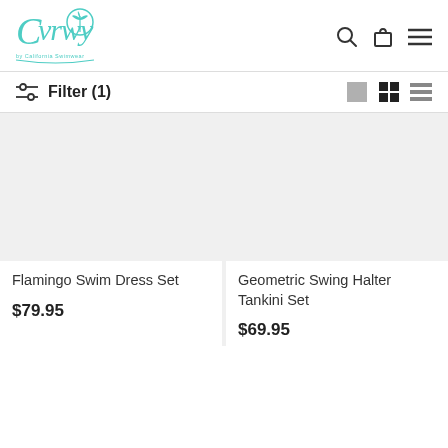[Figure (logo): Curvy by California Swimwear teal logo with palm tree]
Filter (1)
[Figure (other): Product listing image placeholder for Flamingo Swim Dress Set]
Flamingo Swim Dress Set
$79.95
[Figure (other): Product listing image placeholder for Geometric Swing Halter Tankini Set]
Geometric Swing Halter Tankini Set
$69.95